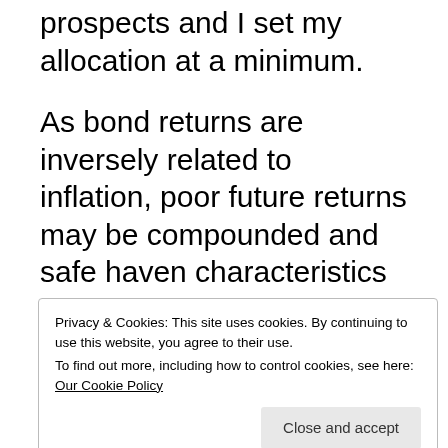low interest rates make for poor future prospects and I set my allocation at a minimum.
As bond returns are inversely related to inflation, poor future returns may be compounded and safe haven characteristics lost in an inflationary environment. This is the time when real
Privacy & Cookies: This site uses cookies. By continuing to use this website, you agree to their use. To find out more, including how to control cookies, see here: Our Cookie Policy
Close and accept
Low commodity valuations can be